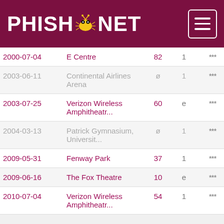PHISH.NET
| Date | Venue | # | Pos | Stars | Last |
| --- | --- | --- | --- | --- | --- |
| 2000-07-04 | E Centre | 82 | 1 | *** | Farm |
| 2003-06-11 | Continental Airlines Arena | ø | 1 | *** | *** |
| 2003-07-25 | Verizon Wireless Amphitheatr... | 60 | e | *** | Bug |
| 2004-03-13 | Patrick Gymnasium, Universit... | ø | 1 | *** | *** |
| 2009-05-31 | Fenway Park | 37 | 1 | *** | Samp |
| 2009-06-16 | The Fox Theatre | 10 | e | *** | McGr |
| 2010-07-04 | Verizon Wireless Amphitheatr... | 54 | 1 | *** | PYIT |